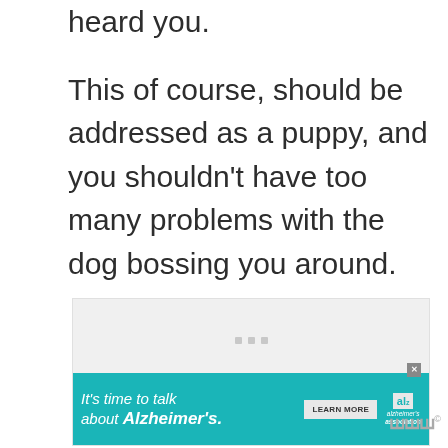heard you.

This of course, should be addressed as a puppy, and you shouldn't have too many problems with the dog bossing you around.
[Figure (other): Advertisement placeholder box with three small gray dots in center, and an Alzheimer's Association banner ad at the bottom reading 'It's time to talk about Alzheimer's.' with a Learn More button and logo.]